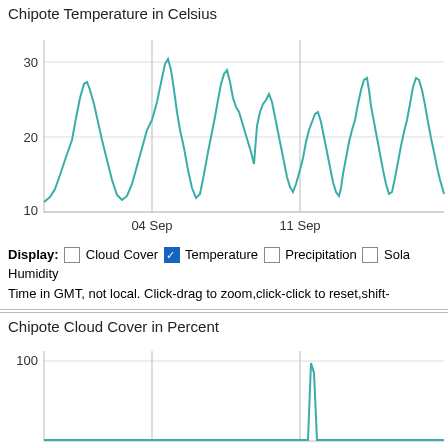Chipote Temperature in Celsius
[Figure (continuous-plot): Line chart showing Chipote temperature in Celsius over time from approximately Sept 1 to beyond Sept 11. The y-axis shows values 10, 20, 30. The x-axis shows date labels '04 Sep' and '11 Sep'. The teal line oscillates with daily cycles, peaking around 29-33°C and dipping to around 11-14°C.]
Display: ☐ Cloud Cover ☑ Temperature ☐ Precipitation ☐ Solar Humidity
Time in GMT, not local. Click-drag to zoom,click-click to reset,shift-
Chipote Cloud Cover in Percent
[Figure (continuous-plot): Partial line chart showing Chipote Cloud Cover in Percent. Y-axis shows value 100. A spike appears near the right-center of the chart reaching approximately 100% cloud cover. Most of the chart appears near 0.]